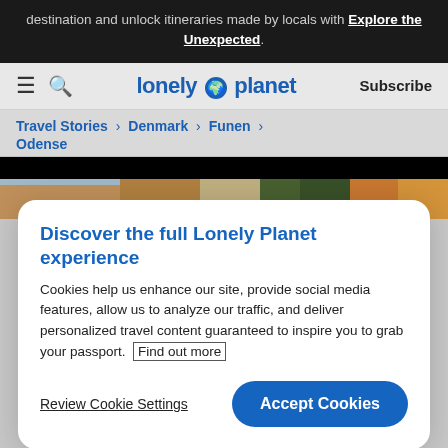destination and unlock itineraries made by locals with Explore the Unexpected.
lonely planet | Subscribe
Travel Stories > Denmark > Funen > Odense
Why Odense, Denmark,
Discover the full Lonely Planet experience
Cookies help us enhance our site, provide social media features, allow us to analyze our traffic, and deliver personalized travel content guaranteed to inspire you to grab your passport. Find out more
Review Cookie Settings
Accept Cookies